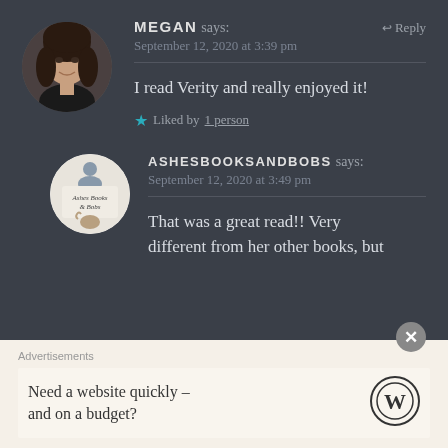[Figure (photo): Circular avatar photo of a young woman with dark hair against dark background]
MEGAN says: September 12, 2020 at 3:39 pm
I read Verity and really enjoyed it!
★ Liked by 1 person
[Figure (logo): Circular logo for Ashes Books and Bobs with teapot illustration]
ASHESBOOKSANDBOBS says: September 12, 2020 at 3:49 pm
That was a great read!! Very different from her other books, but
Advertisements
Need a website quickly – and on a budget?